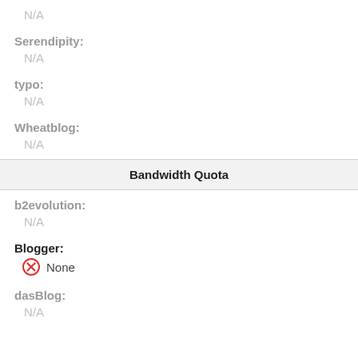N/A
Serendipity:
N/A
typo:
N/A
Wheatblog:
N/A
Bandwidth Quota
b2evolution:
N/A
Blogger:
None
dasBlog:
N/A